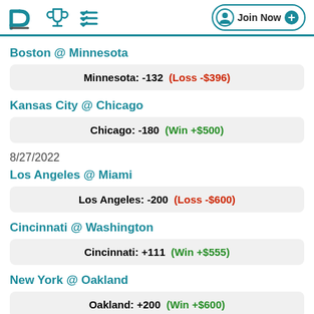PL [logo] [trophy icon] [checklist icon] Join Now
Boston @ Minnesota
Minnesota: -132  (Loss -$396)
Kansas City @ Chicago
Chicago: -180  (Win +$500)
8/27/2022
Los Angeles @ Miami
Los Angeles: -200  (Loss -$600)
Cincinnati @ Washington
Cincinnati: +111  (Win +$555)
New York @ Oakland
Oakland: +200  (Win +$600)